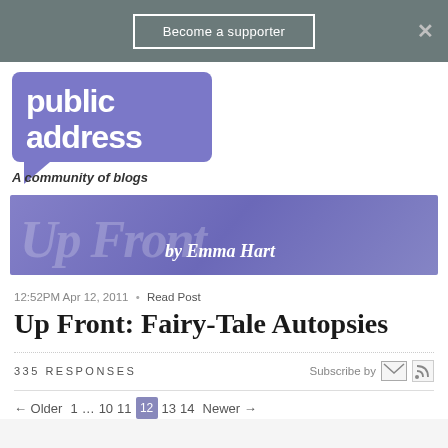Become a supporter
[Figure (logo): Public Address logo — speech bubble shape in purple with white text 'public address', tagline 'A community of blogs']
[Figure (illustration): Up Front by Emma Hart blog banner — purple gradient background with large italic 'Up Front' watermark text and 'by Emma Hart' subtitle]
12:52PM Apr 12, 2011 • Read Post
Up Front: Fairy-Tale Autopsies
335 RESPONSES
Subscribe by [email icon] [rss icon]
← Older  1 … 10  11  12  13  14  Newer →